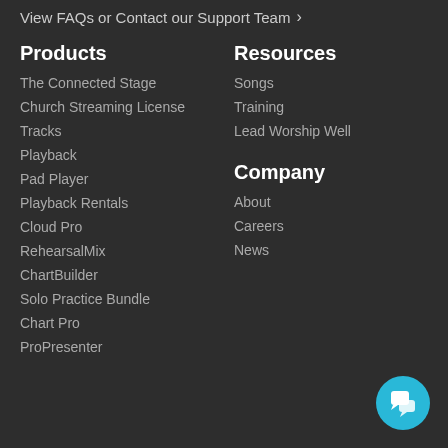View FAQs or Contact our Support Team ›
Products
The Connected Stage
Church Streaming License
Tracks
Playback
Pad Player
Playback Rentals
Cloud Pro
RehearsalMix
ChartBuilder
Solo Practice Bundle
Chart Pro
ProPresenter
Resources
Songs
Training
Lead Worship Well
Company
About
Careers
News
[Figure (illustration): Chat support button icon - circular cyan button with speech bubble icons]